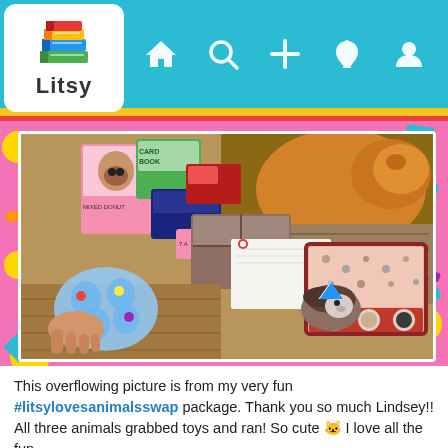[Figure (screenshot): Litsy app navigation bar with logo (stack of colorful books with 'Litsy' text) and icons for home, search, add, notifications, and profile on a teal/cyan background with yellow and red stripes below]
[Figure (photo): Photo showing cats, a hedgehog, books/boxes with animal-themed packaging, a pink cat-patterned gift box with circular magnets/buttons showing cat designs, and a puzzle toy — items from a #litsylovesanimalsswap package, on a pink confetti background]
This overflowing picture is from my very fun #litsylovesanimalsswap package. Thank you so much Lindsey!! All three animals grabbed toys and ran! So cute 🐱 I love all the fun